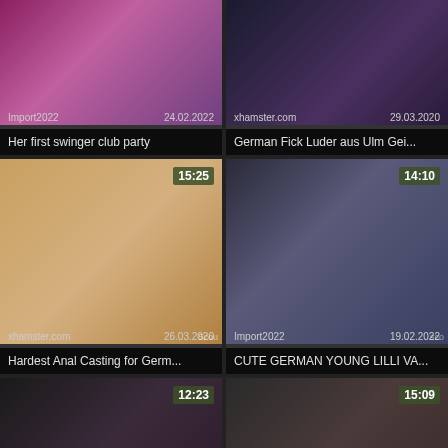[Figure (photo): Video thumbnail - party scene with pink/purple lighting]
[Figure (photo): Video thumbnail - dark scene]
[Figure (photo): Video thumbnail - tan background scene, duration 15:25]
[Figure (photo): Video thumbnail - bar scene with blonde woman, duration 14:10]
[Figure (photo): Video thumbnail - pink outfit scene, duration 12:23]
[Figure (photo): Video thumbnail - close up scene, duration 15:09]